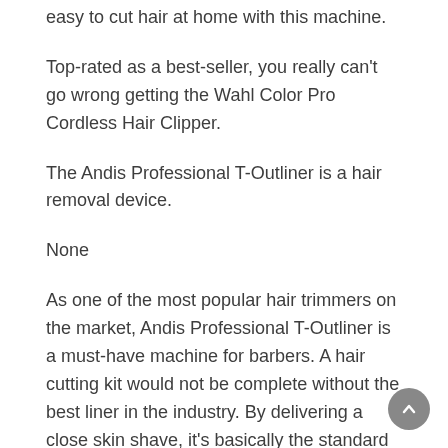easy to cut hair at home with this machine.
Top-rated as a best-seller, you really can't go wrong getting the Wahl Color Pro Cordless Hair Clipper.
The Andis Professional T-Outliner is a hair removal device.
None
As one of the most popular hair trimmers on the market, Andis Professional T-Outliner is a must-have machine for barbers. A hair cutting kit would not be complete without the best liner in the industry. By delivering a close skin shave, it's basically the standard for creating a line up or hard part, and